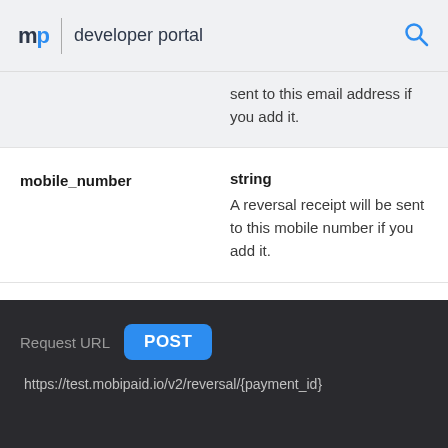mp | developer portal
sent to this email address if you add it.
| Parameter | Type & Description |
| --- | --- |
| mobile_number | string
A reversal receipt will be sent to this mobile number if you add it. |
Request URL  POST  https://test.mobipaid.io/v2/reversal/{payment_id}